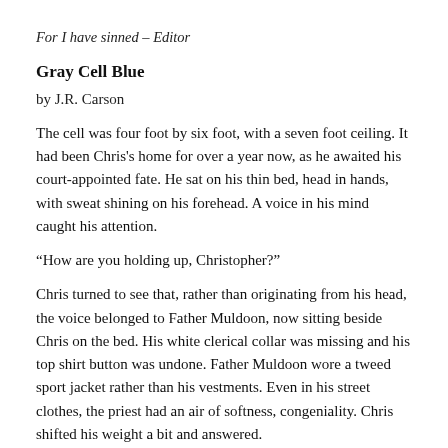For I have sinned - Editor
Gray Cell Blue
by J.R. Carson
The cell was four foot by six foot, with a seven foot ceiling. It had been Chris's home for over a year now, as he awaited his court-appointed fate. He sat on his thin bed, head in hands, with sweat shining on his forehead. A voice in his mind caught his attention.
“How are you holding up, Christopher?”
Chris turned to see that, rather than originating from his head, the voice belonged to Father Muldoon, now sitting beside Chris on the bed. His white clerical collar was missing and his top shirt button was undone. Father Muldoon wore a tweed sport jacket rather than his vestments. Even in his street clothes, the priest had an air of softness, congeniality. Chris shifted his weight a bit and answered.
“I’m alright, Father.” His voice cracked a bit. “Time’s